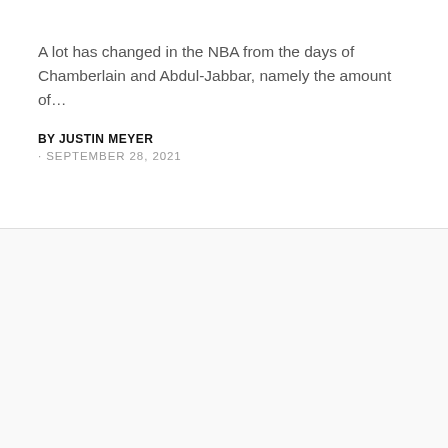A lot has changed in the NBA from the days of Chamberlain and Abdul-Jabbar, namely the amount of…
BY JUSTIN MEYER
· SEPTEMBER 28, 2021